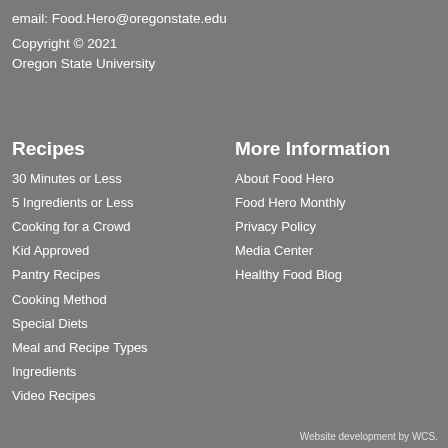email: Food.Hero@oregonstate.edu
Copyright © 2021
Oregon State University
Recipes
30 Minutes or Less
5 Ingredients or Less
Cooking for a Crowd
Kid Approved
Pantry Recipes
Cooking Method
Special Diets
Meal and Recipe Types
Ingredients
Video Recipes
More Information
About Food Hero
Food Hero Monthly
Privacy Policy
Media Center
Healthy Food Blog
Website development by WCS.